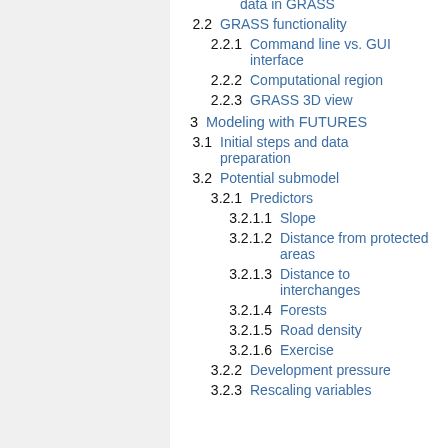data in GRASS
2.2  GRASS functionality
2.2.1  Command line vs. GUI interface
2.2.2  Computational region
2.2.3  GRASS 3D view
3  Modeling with FUTURES
3.1  Initial steps and data preparation
3.2  Potential submodel
3.2.1  Predictors
3.2.1.1  Slope
3.2.1.2  Distance from protected areas
3.2.1.3  Distance to interchanges
3.2.1.4  Forests
3.2.1.5  Road density
3.2.1.6  Exercise
3.2.2  Development pressure
3.2.3  Rescaling variables